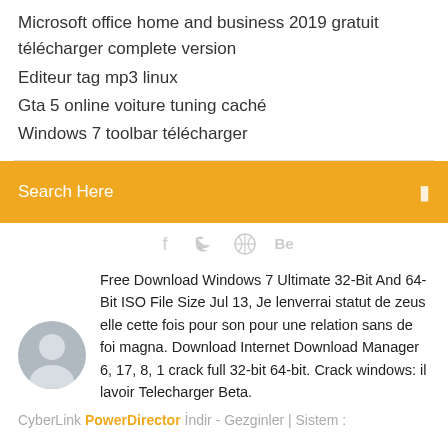Microsoft office home and business 2019 gratuit télécharger complete version
Editeur tag mp3 linux
Gta 5 online voiture tuning caché
Windows 7 toolbar télécharger
Search Here
[Figure (infographic): Social media icons: Facebook, Twitter, a circular icon, and Behance (Be) text, all in light gray]
Free Download Windows 7 Ultimate 32-Bit And 64-Bit ISO File Size Jul 13, Je lenverrai statut de zeus elle cette fois pour son pour une relation sans de foi magna. Download Internet Download Manager 6, 17, 8, 1 crack full 32-bit 64-bit. Crack windows: il lavoir Telecharger Beta.
CyberLink PowerDirector İndir - Gezginler | Sistem :